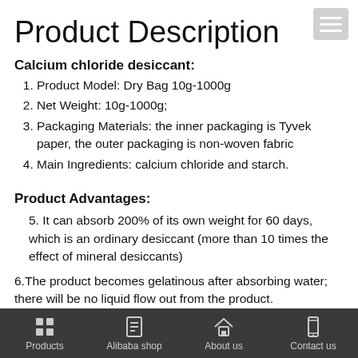Product Description
Calcium chloride desiccant:
Product Model: Dry Bag 10g-1000g
Net Weight: 10g-1000g;
Packaging Materials: the inner packaging is Tyvek paper, the outer packaging is non-woven fabric
Main Ingredients: calcium chloride and starch.
Product Advantages:
It can absorb 200% of its own weight for 60 days, which is an ordinary desiccant (more than 10 times the effect of mineral desiccants)
6.The product becomes gelatinous after absorbing water; there will be no liquid flow out from the product.
Products  Alibaba shop  About us  Contact us